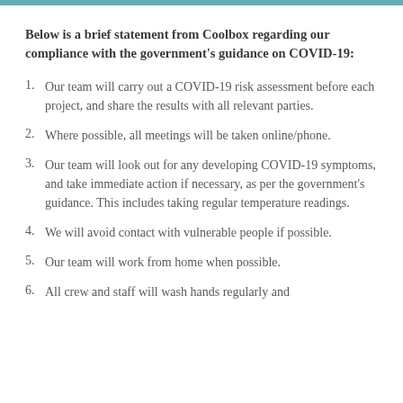Below is a brief statement from Coolbox regarding our compliance with the government's guidance on COVID-19:
Our team will carry out a COVID-19 risk assessment before each project, and share the results with all relevant parties.
Where possible, all meetings will be taken online/phone.
Our team will look out for any developing COVID-19 symptoms, and take immediate action if necessary, as per the government's guidance. This includes taking regular temperature readings.
We will avoid contact with vulnerable people if possible.
Our team will work from home when possible.
All crew and staff will wash hands regularly and...